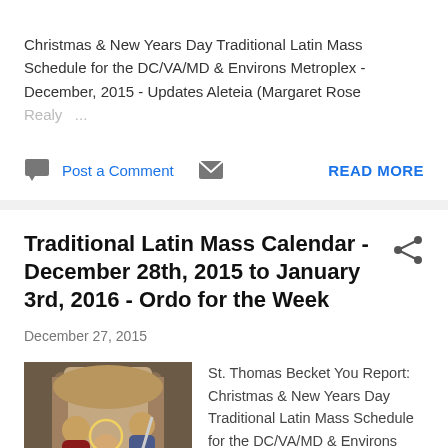Christmas & New Years Day Traditional Latin Mass Schedule for the DC/VA/MD & Environs Metroplex - December, 2015 - Updates Aleteia (Margaret Rose Realy ...
Post a Comment  READ MORE
Traditional Latin Mass Calendar - December 28th, 2015 to January 3rd, 2016 - Ordo for the Week
December 27, 2015
[Figure (illustration): Historical religious painting showing St. Thomas Becket scene with figures in medieval attire]
St. Thomas Becket You Report: Christmas & New Years Day Traditional Latin Mass Schedule for the DC/VA/MD & Environs Metroplex - December, 2015 - Updates December, 2015 Season of Christmastide ...